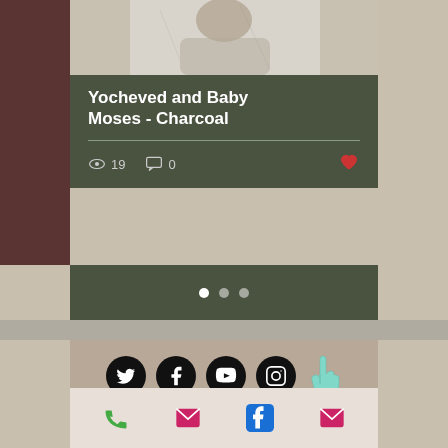[Figure (photo): Charcoal artwork photo of Yocheved and Baby Moses at top of card]
Yocheved and Baby Moses - Charcoal
19 views, 0 comments, like button
[Figure (other): Carousel pagination dots: 3 dots, first active]
[Figure (other): Social media icons: Twitter, Facebook, YouTube, Instagram, and pointing hand cursor]
Copyright © 2022 Carolyn C.S. Kleinberger. All rights reserved | Privacy Policy
Website Designed by Fine Art Advocates
[Figure (other): Bottom bar icons: phone (green), envelope (pink), Facebook (blue), envelope (pink)]